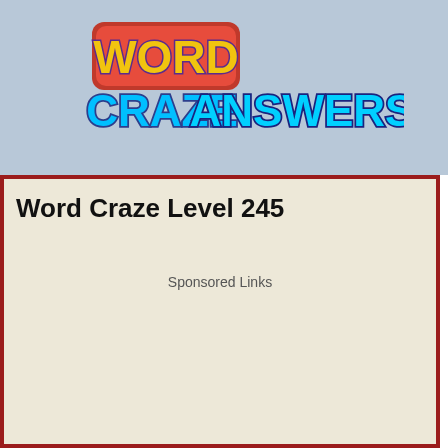[Figure (logo): Word Craze Answers logo with colorful stylized text on a light blue background]
Word Craze Level 245
Sponsored Links